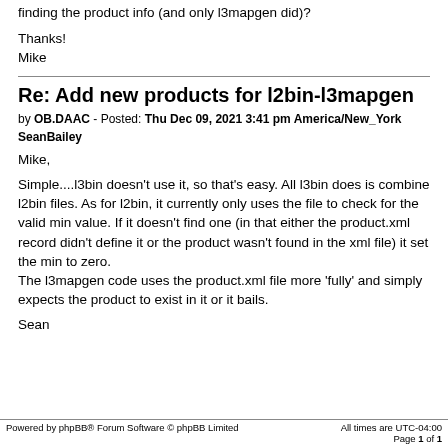finding the product info (and only l3mapgen did)?
Thanks!
Mike
Re: Add new products for l2bin-l3mapgen
by OB.DAAC - Posted: Thu Dec 09, 2021 3:41 pm America/New_York
SeanBailey
Mike,

Simple....l3bin doesn't use it, so that's easy. All l3bin does is combine l2bin files. As for l2bin, it currently only uses the file to check for the valid min value. If it doesn't find one (in that either the product.xml record didn't define it or the product wasn't found in the xml file) it set the min to zero.
The l3mapgen code uses the product.xml file more 'fully' and simply expects the product to exist in it or it bails.

Sean
Powered by phpBB® Forum Software © phpBB Limited   All times are UTC-04:00
Page 1 of 1